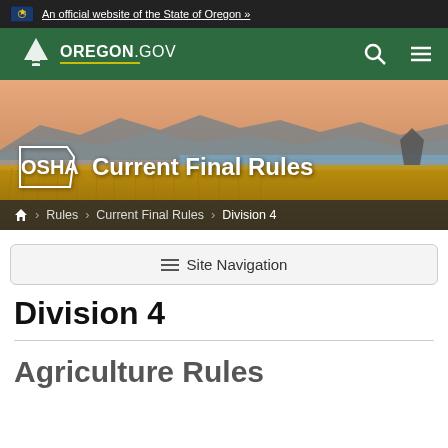An official website of the State of Oregon »
[Figure (logo): Oregon.gov logo with pine tree icon on green navigation bar with search and menu icons]
[Figure (photo): Scenic Oregon coast photo with golden grasses, rock formations, mountains in background at sunset. OSHA logo and 'Current Final Rules' title overlay.]
Home > Rules > Current Final Rules > Division 4
≡ Site Navigation
Division 4
Agriculture Rules